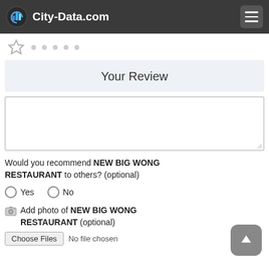City-Data.com
[Figure (illustration): Star rating row with one outlined star and five grey dots]
Your Review
[Figure (screenshot): Empty textarea input field for review text]
Would you recommend NEW BIG WONG RESTAURANT to others? (optional)
Yes   No
Add photo of NEW BIG WONG RESTAURANT (optional)
Choose Files  No file chosen